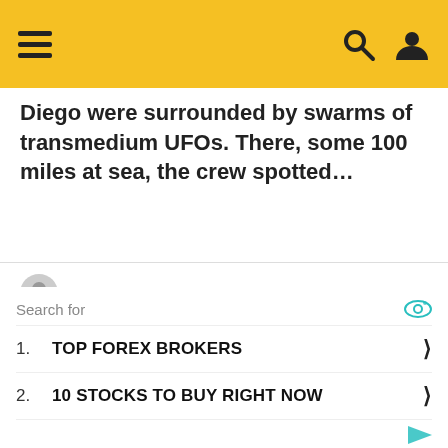Navigation header with hamburger menu, search icon, and user icon on yellow/gold background
Diego were surrounded by swarms of transmedium UFOs. There, some 100 miles at sea, the crew spotted…
by Ancient Code Team 4 months ago
[Figure (other): Advertisement placeholder block with light gray background]
Search for
1. TOP FOREX BROKERS
2. 10 STOCKS TO BUY RIGHT NOW